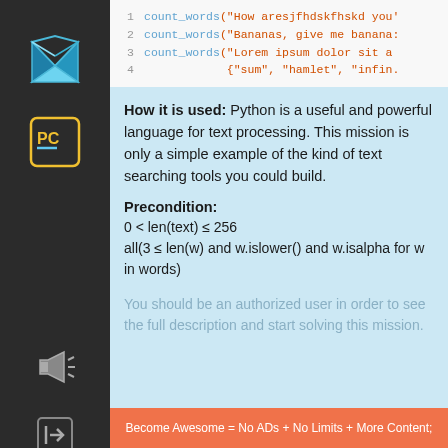[Figure (screenshot): Dark sidebar with application icons: envelope/origami logo, PyCharm PC logo, megaphone icon, login arrow icon]
[Figure (screenshot): Code block showing 4 lines of Python: count_words calls with string arguments and a dict literal]
How it is used: Python is a useful and powerful language for text processing. This mission is only a simple example of the kind of text searching tools you could build.
Precondition:
You should be an authorized user in order to see the full description and start solving this mission.
Become Awesome = No ADs + No Limits + More Content;